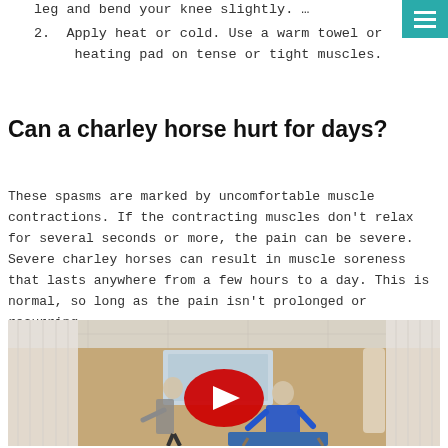leg and bend your knee slightly. …
2. Apply heat or cold. Use a warm towel or heating pad on tense or tight muscles.
Can a charley horse hurt for days?
These spasms are marked by uncomfortable muscle contractions. If the contracting muscles don't relax for several seconds or more, the pain can be severe. Severe charley horses can result in muscle soreness that lasts anywhere from a few hours to a day. This is normal, so long as the pain isn't prolonged or recurring.
[Figure (screenshot): Video thumbnail showing two people in a medical/clinical room setting with a skeleton model, with a YouTube play button overlay.]